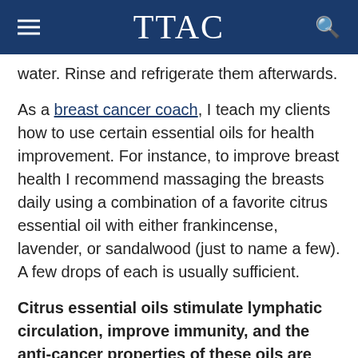TTAC
water. Rinse and refrigerate them afterwards.
As a breast cancer coach, I teach my clients how to use certain essential oils for health improvement. For instance, to improve breast health I recommend massaging the breasts daily using a combination of a favorite citrus essential oil with either frankincense, lavender, or sandalwood (just to name a few). A few drops of each is usually sufficient.
Citrus essential oils stimulate lymphatic circulation, improve immunity, and the anti-cancer properties of these oils are well documented.